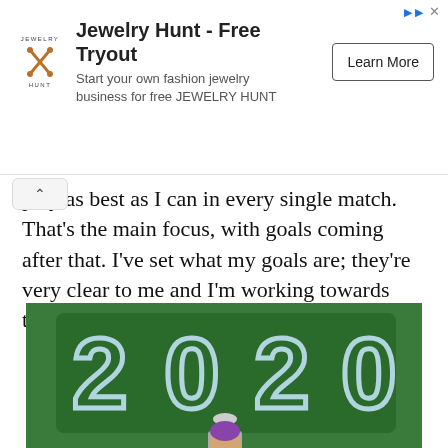[Figure (infographic): Advertisement banner for Jewelry Hunt showing logo, title 'Jewelry Hunt - Free Tryout', subtitle 'Start your own fashion jewelry business for free JEWELRY HUNT', and a 'Learn More' button]
play as best as I can in every single match. That's the main focus, with goals coming after that. I've set what my goals are; they're very clear to me and I'm working towards them.
[Figure (photo): Tennis player (Novak Djokovic) in green outfit holding a trophy, standing in front of a large '2020' illuminated sign. The word 'DUBAI' is written in large white letters at the bottom. Dubai Duty Free Tennis Championships branding visible.]